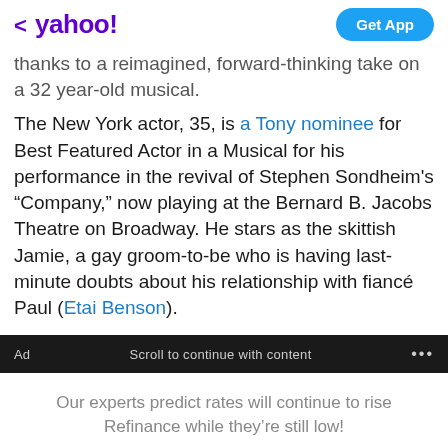< yahoo!   Get App
thanks to a reimagined, forward-thinking take on a 32 year-old musical.
The New York actor, 35, is a Tony nominee for Best Featured Actor in a Musical for his performance in the revival of Stephen Sondheim's “Company,” now playing at the Bernard B. Jacobs Theatre on Broadway. He stars as the skittish Jamie, a gay groom-to-be who is having last-minute doubts about his relationship with fiancé Paul (Etai Benson).
Ad   Scroll to continue with content   ...
Our experts predict rates will continue to rise Refinance while they’re still low!
How much do you need?